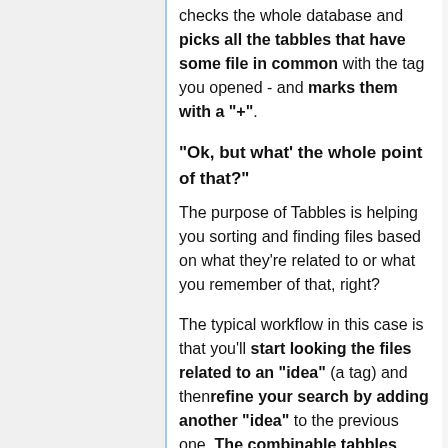checks the whole database and picks all the tabbles that have some file in common with the tag you opened - and marks them with a "+".
"Ok, but what' the whole point of that?"
The purpose of Tabbles is helping you sorting and finding files based on what they're related to or what you remember of that, right?
The typical workflow in this case is that you'll start looking the files related to an "idea" (a tag) and then refine your search by adding another "idea" to the previous one. The combinable tabbles push your search one step further to finding: if they're not combinable it means that you won't find what you're looking for given your starting point.